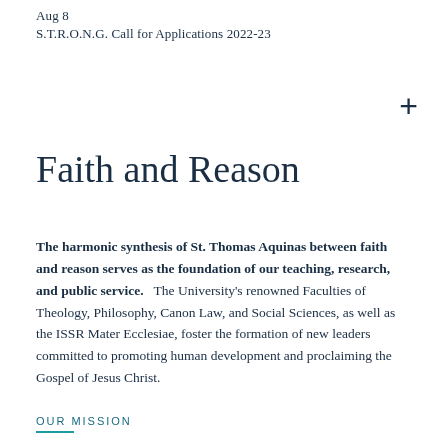Aug 8
S.T.R.O.N.G. Call for Applications 2022-23
Faith and Reason
The harmonic synthesis of St. Thomas Aquinas between faith and reason serves as the foundation of our teaching, research, and public service.   The University's renowned Faculties of Theology, Philosophy, Canon Law, and Social Sciences, as well as the ISSR Mater Ecclesiae, foster the formation of new leaders committed to promoting human development and proclaiming the Gospel of Jesus Christ.
OUR MISSION